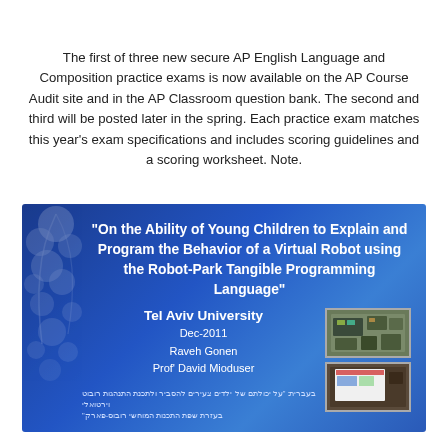The first of three new secure AP English Language and Composition practice exams is now available on the AP Course Audit site and in the AP Classroom question bank. The second and third will be posted later in the spring. Each practice exam matches this year's exam specifications and includes scoring guidelines and a scoring worksheet. Note.
[Figure (photo): Academic conference presentation slide with blue gradient background and floral decoration on left. Title: 'On the Ability of Young Children to Explain and Program the Behavior of a Virtual Robot using the Robot-Park Tangible Programming Language'. Shows Tel Aviv University, Dec-2011, Raveh Gonen, Prof' David Mioduser. Two photographs on right side showing robotic programming materials. Hebrew text at bottom.]